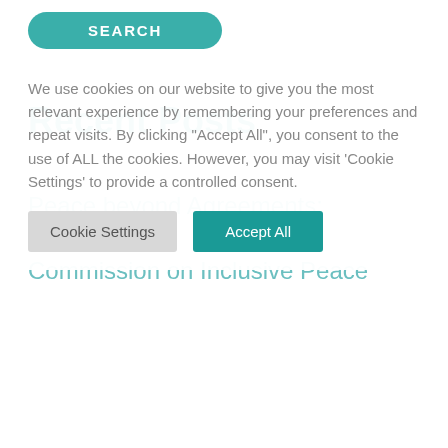[Figure (other): Teal rounded SEARCH button]
Recent Posts
Peace beyond Agreements: International Commission on Inclusive Peace
We use cookies on our website to give you the most relevant experience by remembering your preferences and repeat visits. By clicking "Accept All", you consent to the use of ALL the cookies. However, you may visit 'Cookie Settings' to provide a controlled consent.
[Figure (other): Cookie Settings and Accept All buttons]